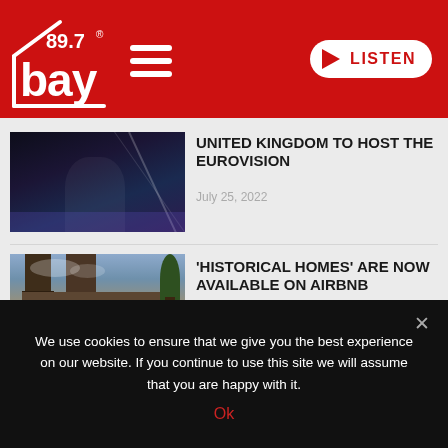89.7 Bay Radio — LISTEN
[Figure (photo): Singer performing on stage with microphone, dark blue and purple lighting with light beams]
UNITED KINGDOM TO HOST THE EUROVISION
July 25, 2022
[Figure (photo): Historical stone castle with towers and trees under a cloudy sky]
'HISTORICAL HOMES' ARE NOW AVAILABLE ON AIRBNB
July 14, 2022
We use cookies to ensure that we give you the best experience on our website. If you continue to use this site we will assume that you are happy with it.
Ok